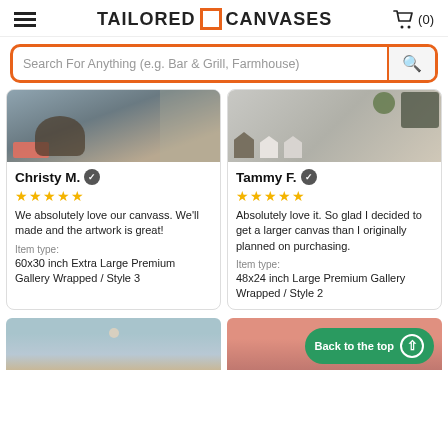TAILORED CANVASES
Search For Anything (e.g. Bar & Grill, Farmhouse)
[Figure (photo): Photo of a room with a basket, pink towel, tile floor - customer review image for Christy M.]
Christy M. ✓
★★★★★
We absolutely love our canvass. We'll made and the artwork is great!
Item type:
60x30 inch Extra Large Premium Gallery Wrapped / Style 3
[Figure (photo): Photo of a shelf display with small house figurines, a plant, and a basket - customer review image for Tammy F.]
Tammy F. ✓
★★★★★
Absolutely love it. So glad I decided to get a larger canvas than I originally planned on purchasing.
Item type:
48x24 inch Large Premium Gallery Wrapped / Style 2
[Figure (photo): Bottom left: photo of a light-colored room ceiling area]
[Figure (photo): Bottom right: partial photo with pink/salmon tones]
Back to the top ↑